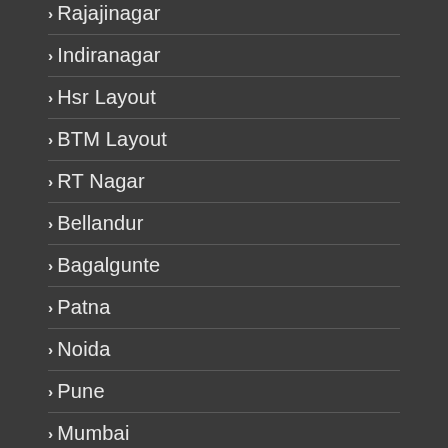Rajajinagar
Indiranagar
Hsr Layout
BTM Layout
RT Nagar
Bellandur
Bagalgunte
Patna
Noida
Pune
Mumbai